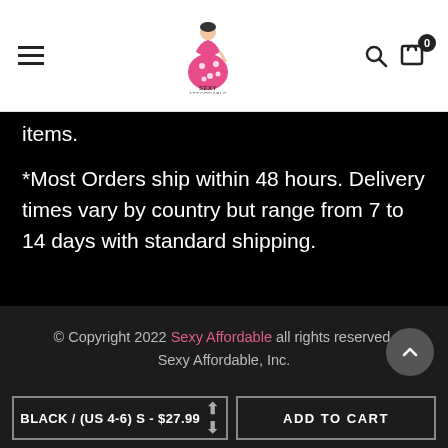[Figure (logo): Sexy Affordable brand logo — pink polka-dot dress figure on white background]
items.
*Most Orders ship within 48 hours. Delivery times vary by country but range from 7 to 14 days with standard shipping.
© Copyright 2022 Sexy Affordable all rights reserved. Sexy Affordable, Inc.
BLACK / (US 4-6) S - $27.99
ADD TO CART